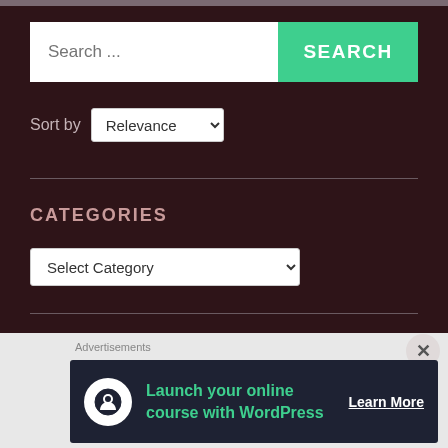[Figure (screenshot): Search bar with white input field showing 'Search ...' placeholder text and a green SEARCH button on the right]
Sort by Relevance
CATEGORIES
Select Category
ARCHIVES
[Figure (infographic): Advertisement banner: 'Launch your online course with WordPress' with Learn More CTA on dark background]